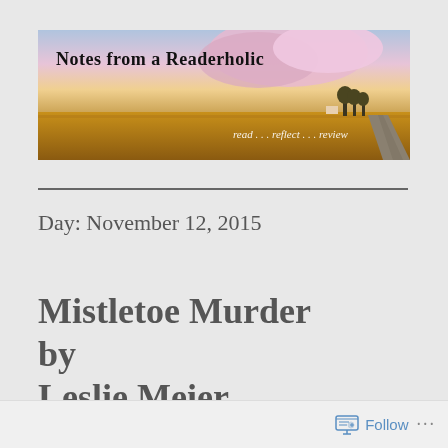[Figure (photo): Banner image for 'Notes from a Readerholic' blog showing a prairie landscape at sunset/dusk with a road, golden fields, and dramatic pink/purple clouds. Bold text 'Notes from a Readerholic' in top-left. Italic text 'read...reflect...review' overlaid on the right side of the image.]
Day: November 12, 2015
Mistletoe Murder by Leslie Meier
Follow ...